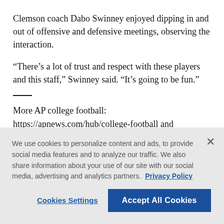Clemson coach Dabo Swinney enjoyed dipping in and out of offensive and defensive meetings, observing the interaction.
“There’s a lot of trust and respect with these players and this staff,” Swinney said. “It’s going to be fun.”
More AP college football: https://apnews.com/hub/college-football and https://twitter.com/AP_Top25 Sign up for the AP’s
We use cookies to personalize content and ads, to provide social media features and to analyze our traffic. We also share information about your use of our site with our social media, advertising and analytics partners. Privacy Policy
Cookies Settings
Accept All Cookies